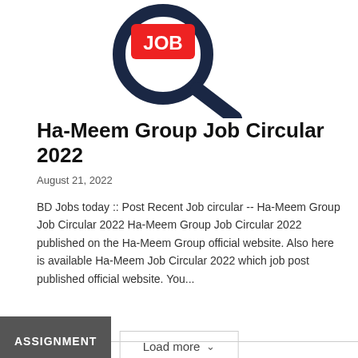[Figure (illustration): A magnifying glass icon with a red tag inside reading 'JOB' in white text, with a dark navy blue magnifying glass outline.]
Ha-Meem Group Job Circular 2022
August 21, 2022
BD Jobs today :: Post Recent Job circular -- Ha-Meem Group Job Circular 2022 Ha-Meem Group Job Circular 2022 published on the Ha-Meem Group official website. Also here is available Ha-Meem Job Circular 2022 which job post published official website. You...
Read more
Load more
ASSIGNMENT